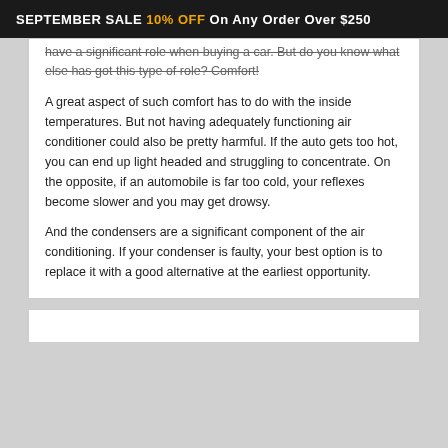SEPTEMBER SALE 10% OFF On Any Order Over $250
have a significant role when buying a car. But do you know what else has got this type of role? Comfort!
A great aspect of such comfort has to do with the inside temperatures. But not having adequately functioning air conditioner could also be pretty harmful. If the auto gets too hot, you can end up light headed and struggling to concentrate. On the opposite, if an automobile is far too cold, your reflexes become slower and you may get drowsy.
And the condensers are a significant component of the air conditioning. If your condenser is faulty, your best option is to replace it with a good alternative at the earliest opportunity.